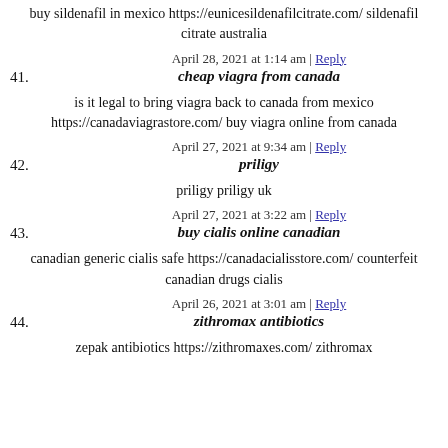buy sildenafil in mexico https://eunicesildenafilcitrate.com/ sildenafil citrate australia
41. April 28, 2021 at 1:14 am | Reply
cheap viagra from canada
is it legal to bring viagra back to canada from mexico https://canadaviagrastore.com/ buy viagra online from canada
42. April 27, 2021 at 9:34 am | Reply
priligy
priligy priligy uk
43. April 27, 2021 at 3:22 am | Reply
buy cialis online canadian
canadian generic cialis safe https://canadacialisstore.com/ counterfeit canadian drugs cialis
44. April 26, 2021 at 3:01 am | Reply
zithromax antibiotics
zepak antibiotics https://zithromaxes.com/ zithromax